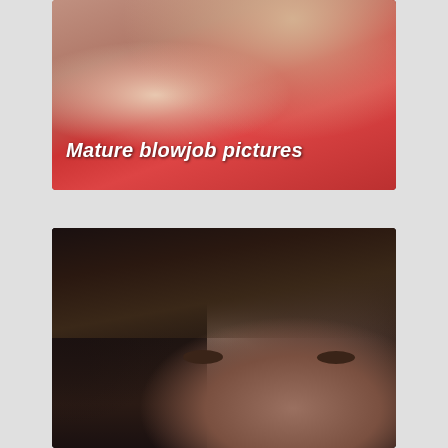[Figure (photo): Close-up photo with pink and red tones, with text overlay reading 'Mature blowjob pictures']
[Figure (photo): Portrait photo of a person with dark curly hair, close-up of face showing eyes]